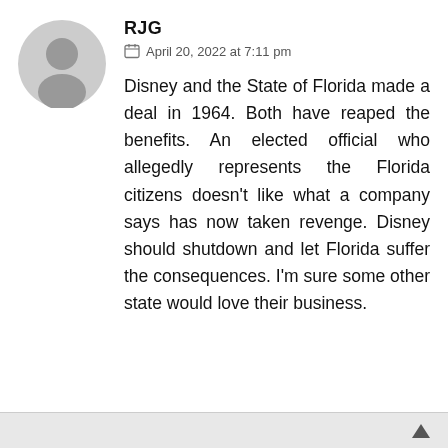[Figure (illustration): Circular grey avatar placeholder icon showing a silhouette of a person]
RJG
April 20, 2022 at 7:11 pm
Disney and the State of Florida made a deal in 1964. Both have reaped the benefits. An elected official who allegedly represents the Florida citizens doesn't like what a company says has now taken revenge. Disney should shutdown and let Florida suffer the consequences. I'm sure some other state would love their business.